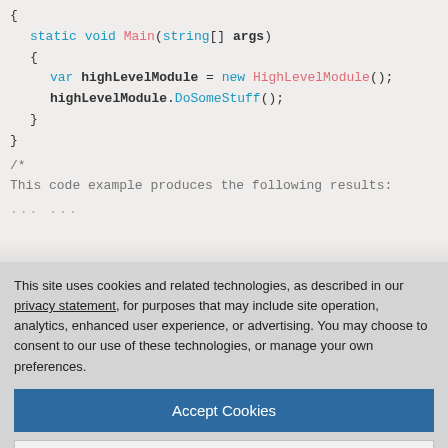[Figure (screenshot): C# code snippet showing static void Main method with HighLevelModule instantiation and DoSomeStuff call, followed by a comment block. Code is syntax-highlighted with blue and pink keywords.]
This site uses cookies and related technologies, as described in our privacy statement, for purposes that may include site operation, analytics, enhanced user experience, or advertising. You may choose to consent to our use of these technologies, or manage your own preferences.
Accept Cookies
More Information
Privacy Policy | Powered by: TrustArc
localized inside the factory instead of being scatter throughout